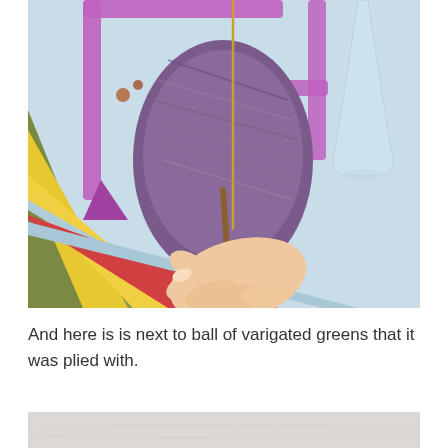[Figure (photo): A hand holding a wooden drop spindle with purple and gold varigated yarn wound around it, resting in a purple plastic yarn swift on a colorful striped cloth surface. A glass of water is visible in the background.]
And here is is next to ball of varigated greens that it was plied with.
[Figure (photo): Partial view of another photograph at the bottom of the page, showing what appears to be yarn on a light surface.]